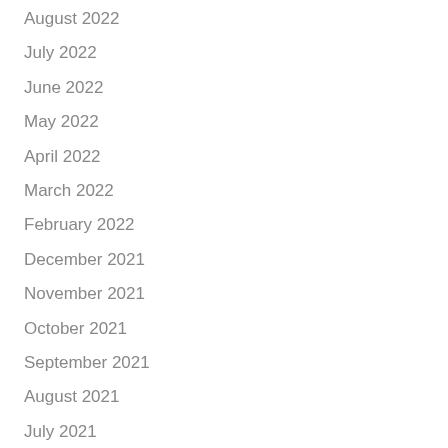August 2022
July 2022
June 2022
May 2022
April 2022
March 2022
February 2022
December 2021
November 2021
October 2021
September 2021
August 2021
July 2021
June 2021
May 2021